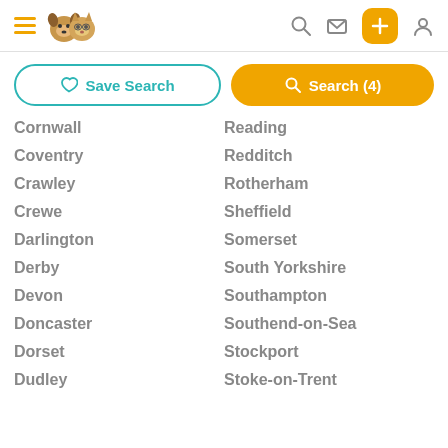Navigation header with hamburger menu, pet logo, search, mail, add, and user icons
Save Search | Search (4)
Cornwall | Reading
Coventry | Redditch
Crawley | Rotherham
Crewe | Sheffield
Darlington | Somerset
Derby | South Yorkshire
Devon | Southampton
Doncaster | Southend-on-Sea
Dorset | Stockport
Dudley | Stoke-on-Trent